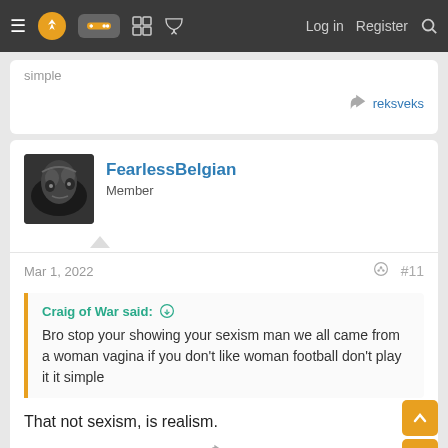≡ [logo] [gamepad] [grid] [chat] Log in Register [search]
simple
reksveks
FearlessBelgian
Member
Mar 1, 2022
#11
Craig of War said: ↑
Bro stop your showing your sexism man we all came from a woman vagina if you don't like woman football don't play it it simple
That not sexism, is realism.
LukakusFirstTouch